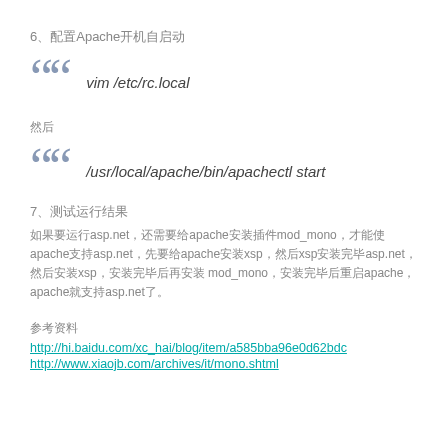6、配置Apache开机自启动
vim /etc/rc.local
然后
/usr/local/apache/bin/apachectl start
7、测试运行结果
如果要运行asp.net，还需要给apache安装插件mod_mono，才能使apache支持asp.net，先要给apache安装xsp，然后xsp安装完毕asp.net，然后安装xsp，安装完毕后再安装mod_mono，安装完毕后重启apache，apache就支持asp.net了。
参考资料
http://hi.baidu.com/xc_hai/blog/item/a585bba96e0d62bdc
http://www.xiaojb.com/archives/it/mono.shtml